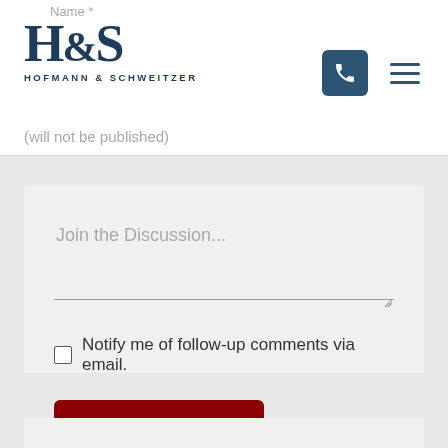[Figure (logo): Hofmann & Schweitzer law firm logo — H&S in large serif navy text, with HOFMANN & SCHWEITZER in small caps below]
Name *
(will not be published)
Join the Discussion...
Notify me of follow-up comments via email.
Add a Comment
Protected By Google reCAPTCHA Privacy - Terms